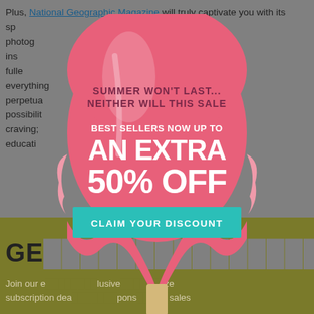Plus, National Geographic Magazine will truly captivate you with its sp... aptured by the best photog... ries and articles ins... to live life to the fulle... overs everything... nd perpetua... s, the possibilit... 's craving; ... educati...
[Figure (infographic): A pop-up promotional overlay shaped like a melting ice cream / ghost figure in pink. Contains summer sale promotional text: 'SUMMER WON'T LAST... NEITHER WILL THIS SALE', 'BEST SELLERS NOW UP TO AN EXTRA 50% OFF', and a teal 'CLAIM YOUR DISCOUNT' button.]
GE...ON
Join our e... lusive... aze subscription dea... pons... sales